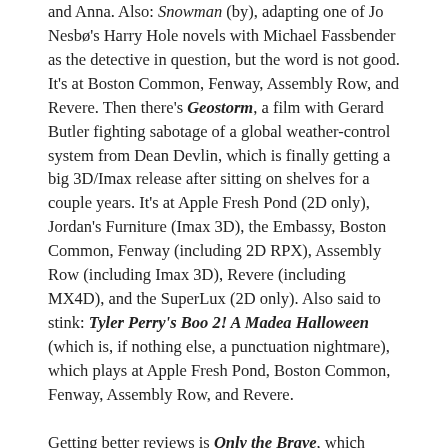and Anna. Also: Snowman (by), adapting one of Jo Nesbø's Harry Hole novels with Michael Fassbender as the detective in question, but the word is not good. It's at Boston Common, Fenway, Assembly Row, and Revere. Then there's Geostorm, a film with Gerard Butler fighting sabotage of a global weather-control system from Dean Devlin, which is finally getting a big 3D/Imax release after sitting on shelves for a couple years. It's at Apple Fresh Pond (2D only), Jordan's Furniture (Imax 3D), the Embassy, Boston Common, Fenway (including 2D RPX), Assembly Row (including Imax 3D), Revere (including MX4D), and the SuperLux (2D only). Also said to stink: Tyler Perry's Boo 2! A Madea Halloween (which is, if nothing else, a punctuation nightmare), which plays at Apple Fresh Pond, Boston Common, Fenway, Assembly Row, and Revere.

Getting better reviews is Only the Brave, which